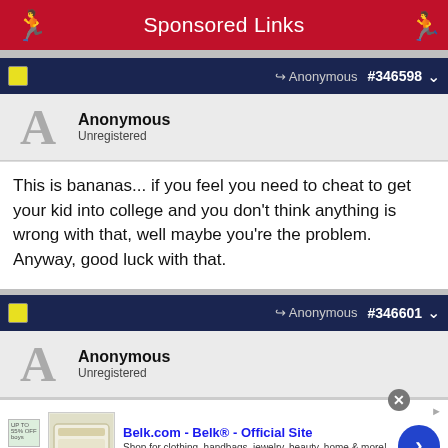Sponsored Links
Anonymous Unregistered #346598
Anonymous
Unregistered
This is bananas... if you feel you need to cheat to get your kid into college and you don't think anything is wrong with that, well maybe you're the problem. Anyway, good luck with that.
Anonymous Unregistered #346601
Anonymous
Unregistered
[Figure (screenshot): Advertisement for Belk.com - Belk Official Site showing clothing/bedding image with text 'Shop for clothing, handbags, jewelry, beauty, home & more!' and www.belk.com]